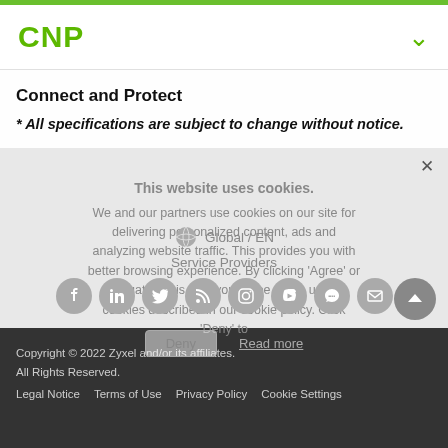CNP
Connect and Protect
* All specifications are subject to change without notice.
This website uses cookies. We and our partners use cookies on our site for delivering personalized content, ads and analyzing website traffic. This provides you with better browsing experience. By clicking 'Agree' or navigating this site, you agree to the use of cookies described in our cookie policy. Click 'Deny' to manage your cookie preferences at any time.
Global / EN
Service Providers
[Figure (infographic): Row of 8 social media/contact icons: Facebook, LinkedIn, Twitter, RSS, Instagram, YouTube, Chat, Email]
Deny   Read more
Copyright © 2022 Zyxel and/or its affiliates. All Rights Reserved. Legal Notice   Terms of Use   Privacy Policy   Cookie Settings